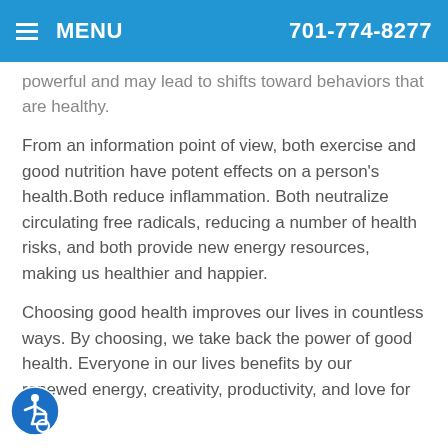MENU  701-774-8277
powerful and may lead to shifts toward behaviors that are healthy.
From an information point of view, both exercise and good nutrition have potent effects on a person's health.Both reduce inflammation. Both neutralize circulating free radicals, reducing a number of health risks, and both provide new energy resources, making us healthier and happier.
Choosing good health improves our lives in countless ways. By choosing, we take back the power of good health. Everyone in our lives benefits by our renewed energy, creativity, productivity, and love for life.
[Figure (logo): Accessibility icon — blue circle with white wheelchair user symbol]